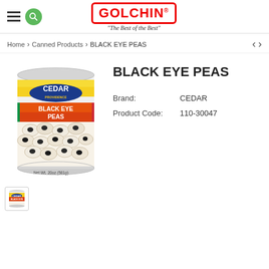[Figure (logo): Golchin brand logo with red border and italic tagline 'The Best of the Best']
Home > Canned Products > BLACK EYE PEAS
[Figure (photo): Can of Cedar Black Eye Peas, Net Wt. 20oz (581g)]
BLACK EYE PEAS
| Brand: | CEDAR |
| Product Code: | 110-30047 |
[Figure (photo): Small thumbnail of Cedar Black Eye Peas can]